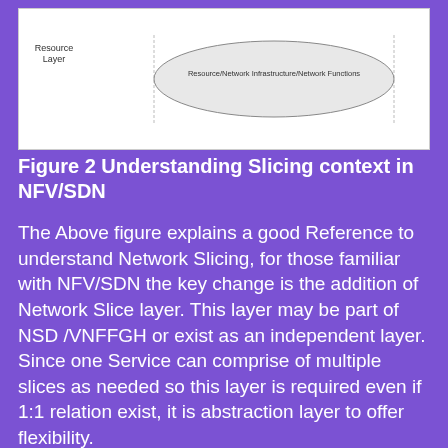[Figure (schematic): Diagram showing a network slicing architecture with a Resource Layer label on the left and an ellipse in the center labeled 'Resource/Network Infrastructure/Network Functions']
Figure  2 Understanding Slicing context in NFV/SDN
The Above figure explains a good Reference to understand Network Slicing, for those familiar with NFV/SDN the key change is the addition of Network Slice layer. This layer may be part of NSD /VNFFGH or exist as an independent layer. Since one Service can comprise of multiple slices as needed so this layer is required even if 1:1 relation exist, it is abstraction layer to offer flexibility.
Services → It is a business service something